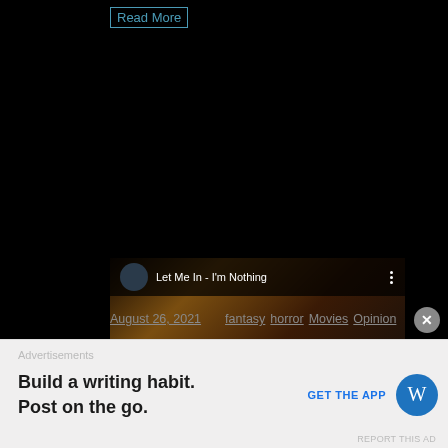Read More
[Figure (screenshot): YouTube video embed showing 'Let Me In - I'm Nothing' with a red play button over a dark cinematic still of a woman with blood on her face]
August 26, 2021   fantasy  horror  Movies  Opinion
Advertisements
Build a writing habit.
Post on the go.
GET THE APP